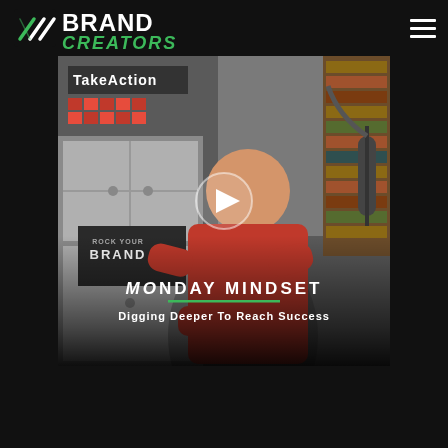[Figure (logo): Brand Creators logo: white arrow icon with 'BRAND' in white bold text and 'CREATORS' in green stylized text]
[Figure (screenshot): Video thumbnail showing a man in a red shirt in a home studio with microphone. Overlay text reads 'MONDAY MINDSET' and 'Digging Deeper To Reach Success'. Play button visible in center. Rock Your Brand logo visible in background.]